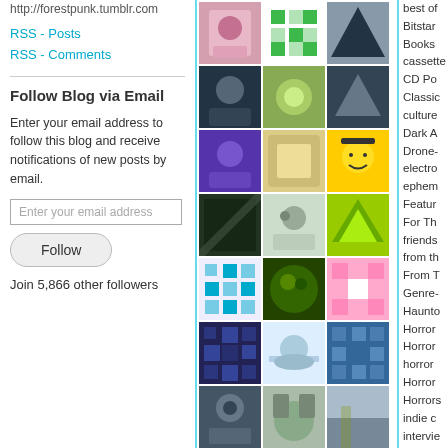http://forestpunk.tumblr.com
RSS - Posts
RSS - Comments
Follow Blog via Email
Enter your email address to follow this blog and receive notifications of new posts by email.
[Figure (screenshot): Grid of user avatar thumbnails arranged in 3 columns]
best of
Bitstar
Books
cassette
CD Po
Classic
culture
Dark A
Drone-
electro
ephem
Featur
For Th
friends
from th
From T
Genre-
Haunto
Horror
Horror
horror
Horror
Horrors
indie c
intervie
Invisible
live – e
Meta-
mixes
Mojo R
movie
movies